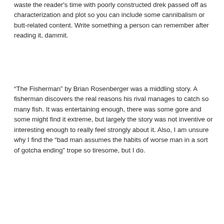waste the reader's time with poorly constructed drek passed off as characterization and plot so you can include some cannibalism or butt-related content. Write something a person can remember after reading it, dammit.
“The Fisherman” by Brian Rosenberger was a middling story. A fisherman discovers the real reasons his rival manages to catch so many fish. It was entertaining enough, there was some gore and some might find it extreme, but largely the story was not inventive or interesting enough to really feel strongly about it. Also, I am unsure why I find the "bad man assumes the habits of worse man in a sort of gotcha ending" trope so tiresome, but I do.